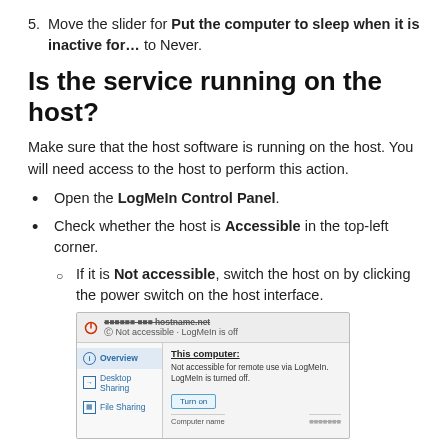5. Move the slider for Put the computer to sleep when it is inactive for... to Never.
Is the service running on the host?
Make sure that the host software is running on the host. You will need access to the host to perform this action.
Open the LogMeIn Control Panel.
Check whether the host is Accessible in the top-left corner.
If it is Not accessible, switch the host on by clicking the power switch on the host interface.
[Figure (screenshot): Screenshot of LogMeIn Control Panel showing 'Not accessible - LogMeIn is off' status with an Overview section, Desktop Sharing and File Sharing menu items, and a 'Turn on' button.]